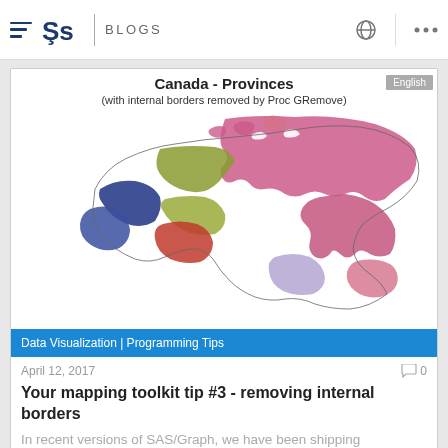SAS BLOGS
[Figure (map): Choropleth map of Canada provinces with internal borders removed by Proc GRemove. Provinces shown in different colors: blue (Yukon/BC), olive/yellow-green (NWT/Saskatchewan), pink/magenta (Nunavut/Quebec), red (Alberta), lavender (Ontario), and other colors. Title: Canada - Provinces (with internal borders removed by Proc GRemove). English badge in top right corner.]
Data Visualization | Programming Tips
April 12, 2017
0
Your mapping toolkit tip #3 - removing internal borders
In recent versions of SAS/Graph, we have been shipping new/updated maps of each country, with 2